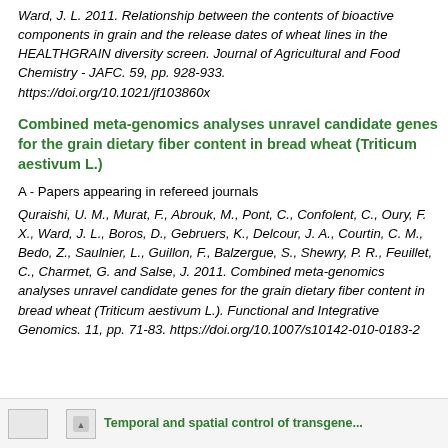Ward, J. L. 2011. Relationship between the contents of bioactive components in grain and the release dates of wheat lines in the HEALTHGRAIN diversity screen. Journal of Agricultural and Food Chemistry - JAFC. 59, pp. 928-933. https://doi.org/10.1021/jf103860x
Combined meta-genomics analyses unravel candidate genes for the grain dietary fiber content in bread wheat (Triticum aestivum L.)
A - Papers appearing in refereed journals
Quraishi, U. M., Murat, F., Abrouk, M., Pont, C., Confolent, C., Oury, F. X., Ward, J. L., Boros, D., Gebruers, K., Delcour, J. A., Courtin, C. M., Bedo, Z., Saulnier, L., Guillon, F., Balzergue, S., Shewry, P. R., Feuillet, C., Charmet, G. and Salse, J. 2011. Combined meta-genomics analyses unravel candidate genes for the grain dietary fiber content in bread wheat (Triticum aestivum L.). Functional and Integrative Genomics. 11, pp. 71-83. https://doi.org/10.1007/s10142-010-0183-2
Temporal and spatial control of transgene...